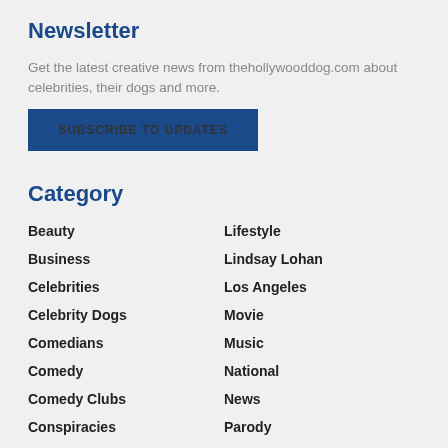Newsletter
Get the latest creative news from thehollywooddog.com about celebrities, their dogs and more.
SUBSCRIBE TO UPDATES
Category
Beauty
Lifestyle
Business
Lindsay Lohan
Celebrities
Los Angeles
Celebrity Dogs
Movie
Comedians
Music
Comedy
National
Comedy Clubs
News
Conspiracies
Parody
Dog House
Perry Kurtz